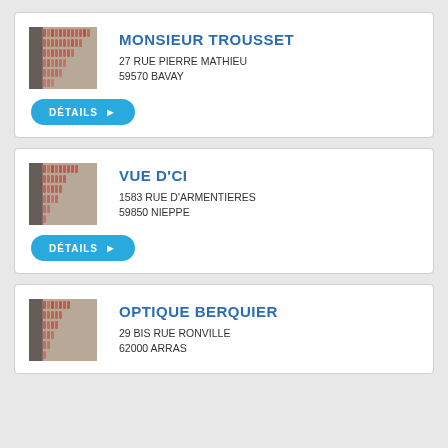[Figure (photo): Thumbnail of eyewear store interior showing glasses frames on display]
MONSIEUR TROUSSET
27 RUE PIERRE MATHIEU
59570 BAVAY
[Figure (photo): Thumbnail of eyewear store interior showing glasses frames on display]
VUE D'CI
1583 RUE D'ARMENTIERES
59850 NIEPPE
[Figure (photo): Thumbnail of eyewear store interior showing glasses frames on display]
OPTIQUE BERQUIER
29 BIS RUE RONVILLE
62000 ARRAS